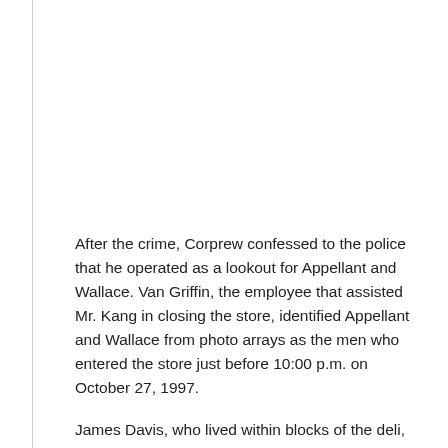After the crime, Corprew confessed to the police that he operated as a lookout for Appellant and Wallace. Van Griffin, the employee that assisted Mr. Kang in closing the store, identified Appellant and Wallace from photo arrays as the men who entered the store just before 10:00 p.m. on October 27, 1997.
James Davis, who lived within blocks of the deli, testified that Appellant and Wallace asked him to participate in the crime. Davis declined the invitation. On the eve of the crime, Davis encountered the